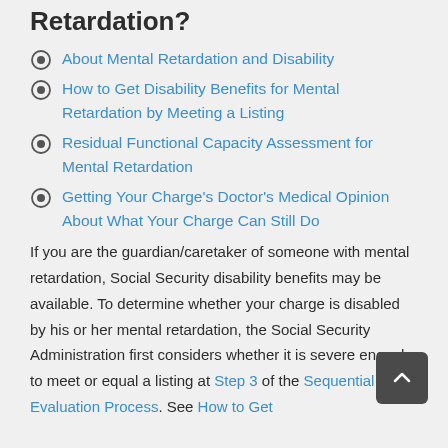Retardation?
About Mental Retardation and Disability
How to Get Disability Benefits for Mental Retardation by Meeting a Listing
Residual Functional Capacity Assessment for Mental Retardation
Getting Your Charge's Doctor's Medical Opinion About What Your Charge Can Still Do
If you are the guardian/caretaker of someone with mental retardation, Social Security disability benefits may be available. To determine whether your charge is disabled by his or her mental retardation, the Social Security Administration first considers whether it is severe enough to meet or equal a listing at Step 3 of the Sequential Evaluation Process. See How to Get